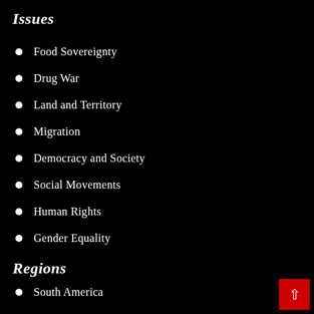Issues
Food Sovereignty
Drug War
Land and Territory
Migration
Democracy and Society
Social Movements
Human Rights
Gender Equality
Regions
South America
Central America
Caribbean